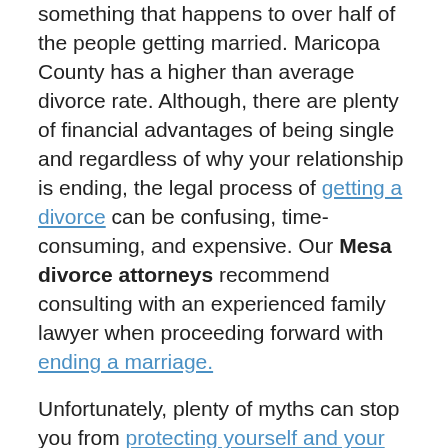something that happens to over half of the people getting married.  Maricopa County has a higher than average divorce rate.  Although, there are plenty of financial advantages of being single and regardless of why your relationship is ending, the legal process of getting a divorce can be confusing, time-consuming, and expensive.  Our Mesa divorce attorneys recommend consulting with an experienced family lawyer when proceeding forward with ending a marriage.
Unfortunately, plenty of myths can stop you from protecting yourself and your needs when seeking a divorce in Mesa, AZ.  Also, these false statements that are out there often make a difficult situation even worse.  You can't make the correct decisions when given mis-information. It's easy to come across misinformation or legal myths that are not only misleading but harmful. Therefore, identifying these Divorce myths and misconceptions is essential for